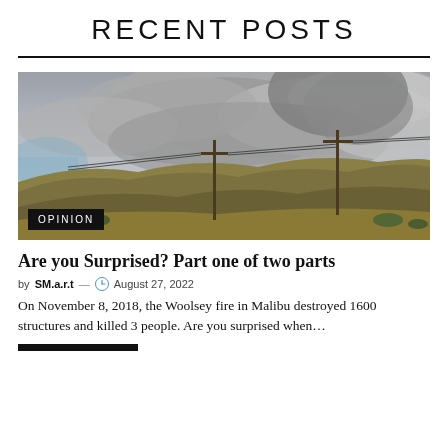RECENT POSTS
[Figure (photo): Wildfire smoke cloud rising over dry California hills with utility poles in the foreground; an 'OPINION' badge overlays the bottom-left corner of the image]
Are you Surprised? Part one of two parts
by SM.a.r.t — August 27, 2022
On November 8, 2018, the Woolsey fire in Malibu destroyed 1600 structures and killed 3 people. Are you surprised when…